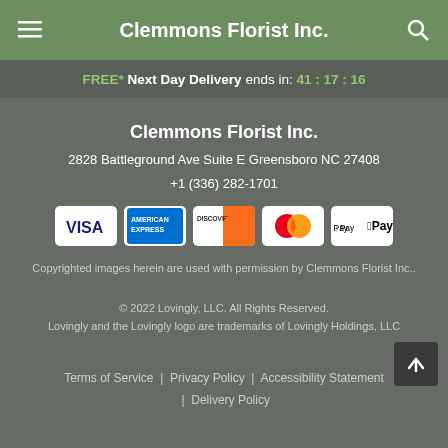Clemmons Florist Inc.
FREE* Next Day Delivery ends in: 41:17:16
Clemmons Florist Inc.
2828 Battleground Ave Suite E Greensboro NC 27408
+1 (336) 282-1701
[Figure (logo): Payment method icons: Visa, American Express, Discover, Mastercard, Apple Pay]
Copyrighted images herein are used with permission by Clemmons Florist Inc..
© 2022 Lovingly, LLC. All Rights Reserved.
Lovingly and the Lovingly logo are trademarks of Lovingly Holdings, LLC
Terms of Service | Privacy Policy | Accessibility Statement | Delivery Policy